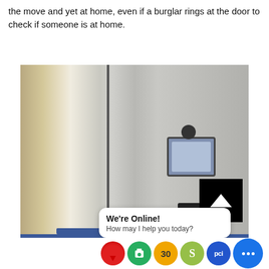the move and yet at home, even if a burglar rings at the door to check if someone is at home.
[Figure (photo): Blurry photograph of what appears to be a door intercom or access control panel mounted on a wall, with a screen device and buttons visible. Blue banner at the bottom. A black scroll-up button with a chevron icon overlays the image.]
We're Online!
How may I help you today?